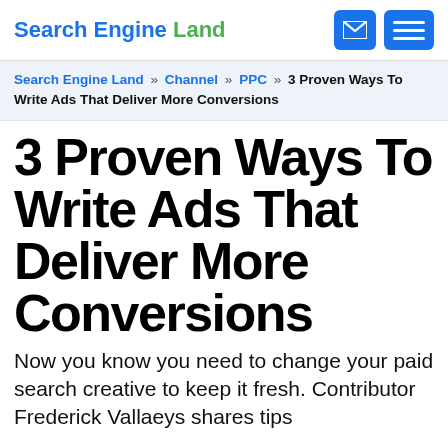Search Engine Land
Search Engine Land » Channel » PPC » 3 Proven Ways To Write Ads That Deliver More Conversions
3 Proven Ways To Write Ads That Deliver More Conversions
Now you know you need to change your paid search creative to keep it fresh. Contributor Frederick Vallaeys shares tips from a Broad Match CEO on the...